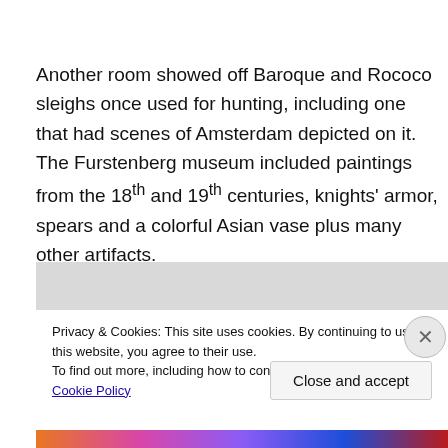Another room showed off Baroque and Rococo sleighs once used for hunting, including one that had scenes of Amsterdam depicted on it. The Furstenberg museum included paintings from the 18th and 19th centuries, knights' armor, spears and a colorful Asian vase plus many other artifacts.
Privacy & Cookies: This site uses cookies. By continuing to use this website, you agree to their use.
To find out more, including how to control cookies, see here: Cookie Policy